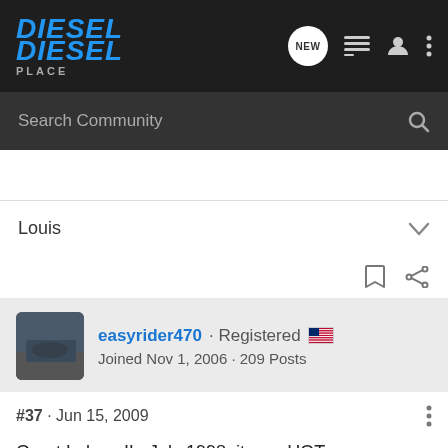DieselPlace logo and navigation bar
Search Community
Louis
easyrider470 · Registered
Joined Nov 1, 2006 · 209 Posts
#37 · Jun 15, 2009
Great Lakes, IL. July 1998, it was HOT